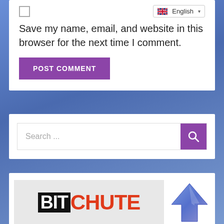Save my name, email, and website in this browser for the next time I comment.
POST COMMENT
Search ...
[Figure (logo): BitChute logo on grey background with blue upload arrow icon to the right]